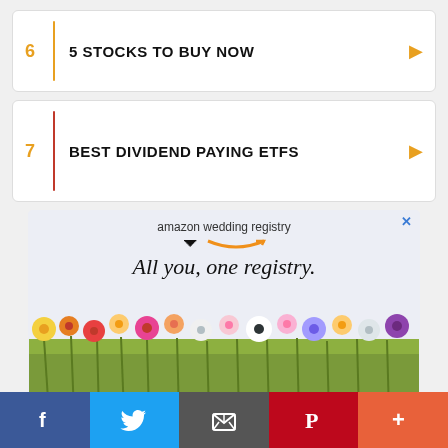6 5 STOCKS TO BUY NOW
7 BEST DIVIDEND PAYING ETFS
[Figure (infographic): Amazon wedding registry advertisement showing 'All you, one registry.' text with flower arrangement photo below.]
Social share bar: Facebook, Twitter, Email, Pinterest, More